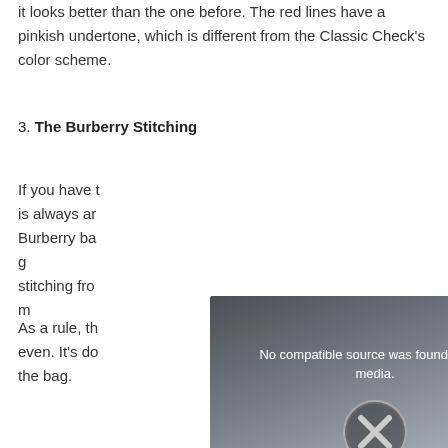The print is more modern and bright, with yellow undertones, and it looks better than the one before. The red lines have a pinkish undertone, which is different from the Classic Check's color scheme.
3. The Burberry Stitching
If you have the real Burberry bag, the stitching is always an important detail to check. A real Burberry bag always has consistent and even stitching from top to bottom.
As a rule, the stitching on a genuine bag is always neat and even. It's done carefully going around the entire the bag.
[Figure (screenshot): Video player overlay showing 'No compatible source was found for this media.' message with an X button icon and a close button in the top right corner. Dark grey gradient background.]